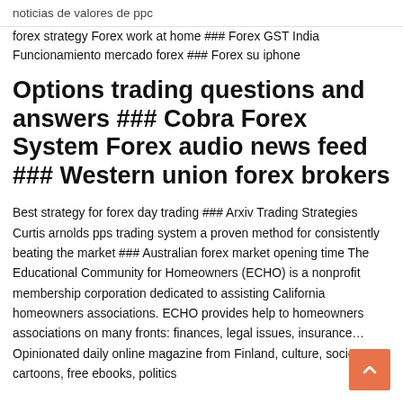noticias de valores de ppc
forex strategy Forex work at home ### Forex GST India Funcionamiento mercado forex ### Forex su iphone
Options trading questions and answers ### Cobra Forex System Forex audio news feed ### Western union forex brokers
Best strategy for forex day trading ### Arxiv Trading Strategies Curtis arnolds pps trading system a proven method for consistently beating the market ### Australian forex market opening time The Educational Community for Homeowners (ECHO) is a nonprofit membership corporation dedicated to assisting California homeowners associations. ECHO provides help to homeowners associations on many fronts: finances, legal issues, insurance… Opinionated daily online magazine from Finland, culture, society, art, cartoons, free ebooks, politics